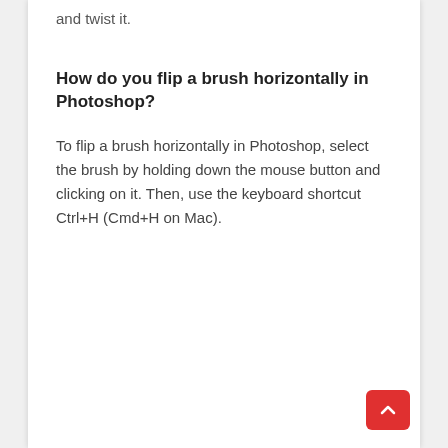and twist it.
How do you flip a brush horizontally in Photoshop?
To flip a brush horizontally in Photoshop, select the brush by holding down the mouse button and clicking on it. Then, use the keyboard shortcut Ctrl+H (Cmd+H on Mac).